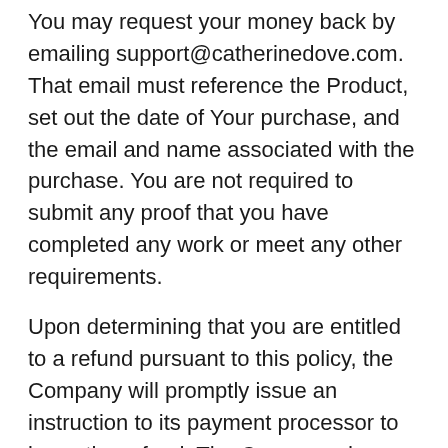You may request your money back by emailing support@catherinedove.com. That email must reference the Product, set out the date of Your purchase, and the email and name associated with the purchase. You are not required to submit any proof that you have completed any work or meet any other requirements.
Upon determining that you are entitled to a refund pursuant to this policy, the Company will promptly issue an instruction to its payment processor to issue the refund. The Company does not control its payment processor and will not be able to expedite any refunds.
If you receive a refund of any purchase through this money-back guarantee, that shall immediately terminate any and all licenses granted you to use the material provided to you under this